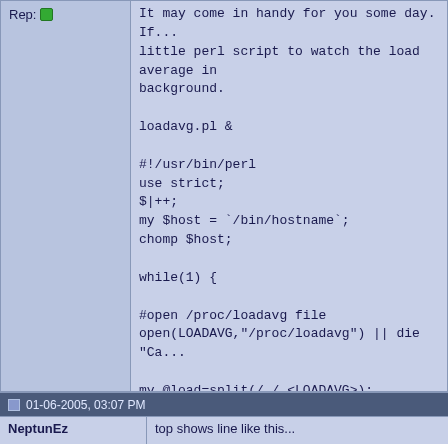Rep: [green indicator]
It may come in handy for you some day. If... little perl script to watch the load average in background.

loadavg.pl &

#!/usr/bin/perl
use strict;
$|++;
my $host = `/bin/hostname`;
chomp $host;

while(1) {

#open /proc/loadavg file
open(LOADAVG,"/proc/loadavg") || die "Ca...

my @load=split(/ /,<LOADAVG>);
close(LOADAVG);

print "\033]0;";
print "$host: $load[0] $load[1] $load[2] at ",...
print "\007";

sleep 2;
}
01-06-2005, 03:07 PM
NeptunEz
top shows line like this...